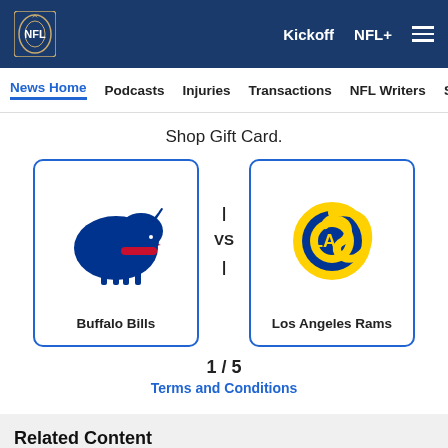NFL | Kickoff  NFL+
News Home  Podcasts  Injuries  Transactions  NFL Writers  Se
Shop Gift Card.
[Figure (infographic): Buffalo Bills vs Los Angeles Rams matchup card. Two team cards side by side with team logos and names separated by a vertical bar VS vertical bar divider. Pagination shows 1/5.]
1 / 5
Terms and Conditions
Related Content